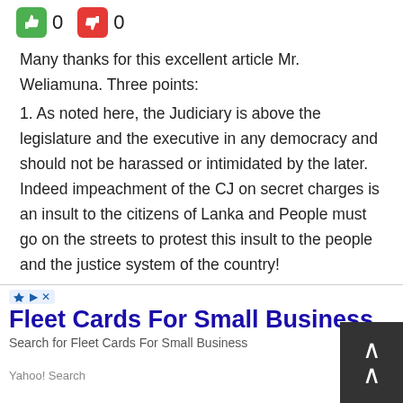[Figure (other): Thumbs up (green) showing count 0 and thumbs down (red) showing count 0 vote buttons]
Many thanks for this excellent article Mr. Weliamuna. Three points:
1. As noted here, the Judiciary is above the legislature and the executive in any democracy and should not be harassed or intimidated by the later. Indeed impeachment of the CJ on secret charges is an insult to the citizens of Lanka and People must go on the streets to protest this insult to the people and the justice system of the country!
2. The Sri Lankan public has the
[Figure (screenshot): Advertisement overlay: Fleet Cards For Small Business - Search for Fleet Cards For Small Business. Yahoo! Search with Open button. Close X button and scroll up arrow button also visible.]